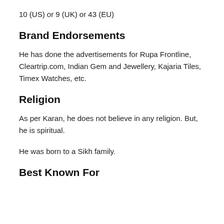10 (US) or 9 (UK) or 43 (EU)
Brand Endorsements
He has done the advertisements for Rupa Frontline, Cleartrip.com, Indian Gem and Jewellery, Kajaria Tiles, Timex Watches, etc.
Religion
As per Karan, he does not believe in any religion. But, he is spiritual.
He was born to a Sikh family.
Best Known For